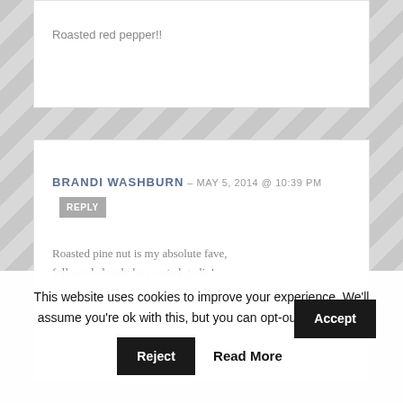Roasted red pepper!!
BRANDI WASHBURN – MAY 5, 2014 @ 10:39 PM [REPLY]
Roasted pine nut is my absolute fave, followed closely by roasted garlic!
LORI JOHNSON – [date truncated]
This website uses cookies to improve your experience. We'll assume you're ok with this, but you can opt-out if you wish. Accept Reject Read More